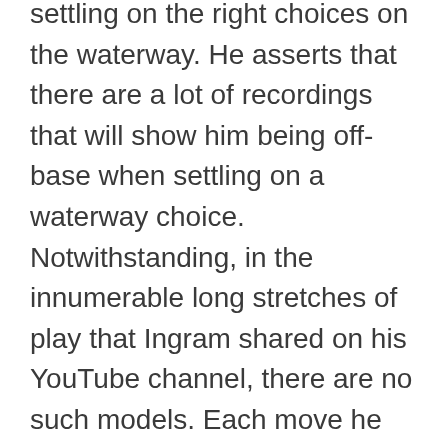settling on the right choices on the waterway. He asserts that there are a lot of recordings that will show him being off-base when settling on a waterway choice. Notwithstanding, in the innumerable long stretches of play that Ingram shared on his YouTube channel, there are no such models. Each move he made was the right play depending on what hand he held and his adversary's cards.
The chances aren't extraordinary that he couldn't see his adversary's cards during streams the previous year. In any case, it could be hard for VerStandig to demonstrate in common court. But that isn't another element —